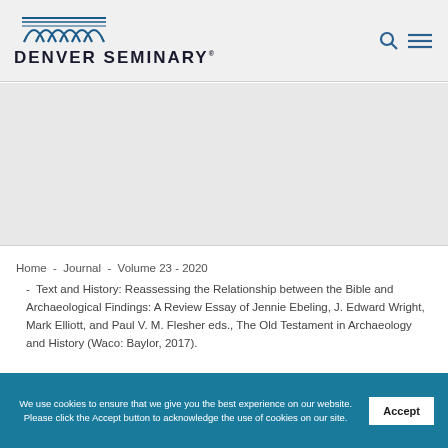DENVER SEMINARY
[Figure (logo): Denver Seminary logo with wave/arch design above text]
Home  -  Journal  -  Volume 23 - 2020  -  Text and History: Reassessing the Relationship between the Bible and Archaeological Findings: A Review Essay of Jennie Ebeling, J. Edward Wright, Mark Elliott, and Paul V. M. Flesher eds., The Old Testament in Archaeology and History (Waco: Baylor, 2017).
We use cookies to ensure that we give you the best experience on our website. Please click the Accept button to acknowledge the use of cookies on our site.